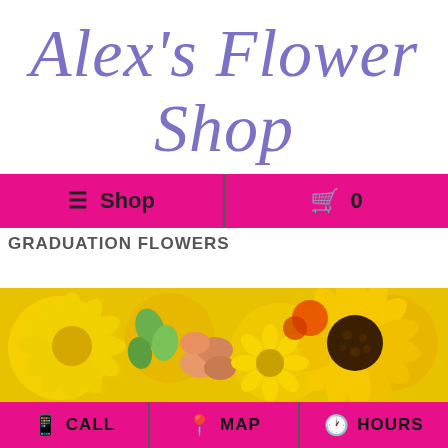Alex's Flower Shop
≡ Shop  🛒 0
GRADUATION FLOWERS
[Figure (photo): Close-up photo of yellow and orange flowers including sunflowers and chrysanthemums]
📱 CALL   📍 MAP   🕐 HOURS